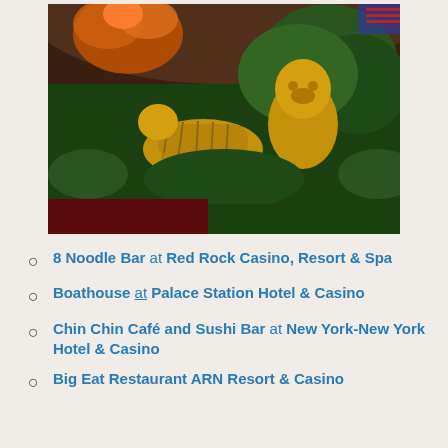[Figure (photo): Indoor botanical display at a casino featuring golden tiger and lion/foo dog sculptures surrounded by tropical plants, red flowers, and ornate decorations including orange glass art and American flag in background]
8 Noodle Bar at Red Rock Casino, Resort & Spa
Boathouse at Palace Station Hotel & Casino
Chin Chin Café and Sushi Bar at New York-New York Hotel & Casino
Big Eat Restaurant ARN Resort & Casino (partial)